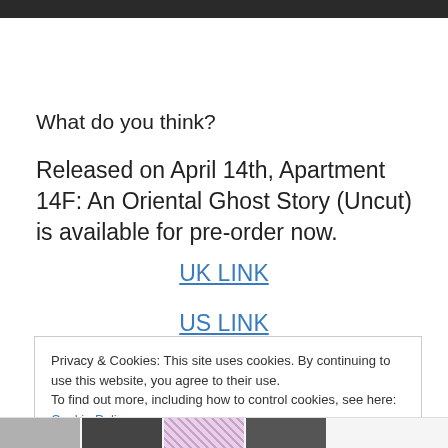[Figure (photo): Dark image at top of page, appears to be a horror movie still]
What do you think?
Released on April 14th, Apartment 14F: An Oriental Ghost Story (Uncut) is available for pre-order now.
UK LINK
US LINK
Privacy & Cookies: This site uses cookies. By continuing to use this website, you agree to their use.
To find out more, including how to control cookies, see here: Cookie Policy
[Figure (photo): Row of thumbnail images at the bottom of the page]